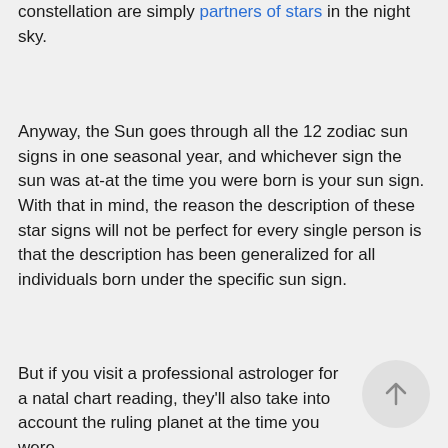constellation are simply partners of stars in the night sky.
Anyway, the Sun goes through all the 12 zodiac sun signs in one seasonal year, and whichever sign the sun was at-at the time you were born is your sun sign. With that in mind, the reason the description of these star signs will not be perfect for every single person is that the description has been generalized for all individuals born under the specific sun sign.
But if you visit a professional astrologer for a natal chart reading, they'll also take into account the ruling planet at the time you were